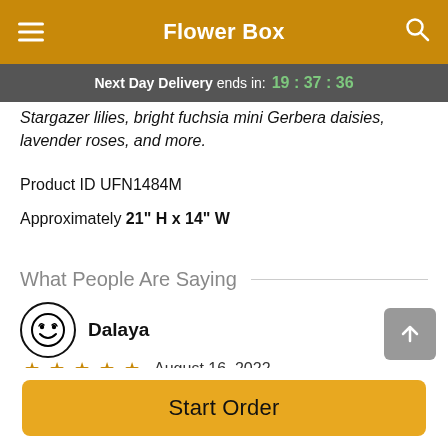Flower Box
Next Day Delivery ends in: 19:37:36
Stargazer lilies, bright fuchsia mini Gerbera daisies, lavender roses, and more.
Product ID UFN1484M
Approximately 21" H x 14" W
What People Are Saying
Dalaya
★★★★★  August 16, 2022
Verified Purchase | Florist's Choice Daily Deal delivered to Minot, ND
Start Order